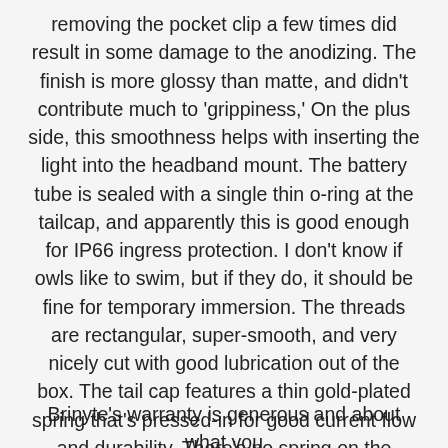removing the pocket clip a few times did result in some damage to the anodizing. The finish is more glossy than matte, and didn't contribute much to 'grippiness,' On the plus side, this smoothness helps with inserting the light into the headband mount. The battery tube is sealed with a single thin o-ring at the tailcap, and apparently this is good enough for IP66 ingress protection. I don't know if owls like to swim, but if they do, it should be fine for temporary immersion. The threads are rectangular, super-smooth, and very nicely cut with good lubrication out of the box. The tail cap features a thin gold-plated spring that's pressed-in for good current flow and durability. There's no spring on the driver's positive contact, just a button.
Brinyte's warranty is generous and about what you